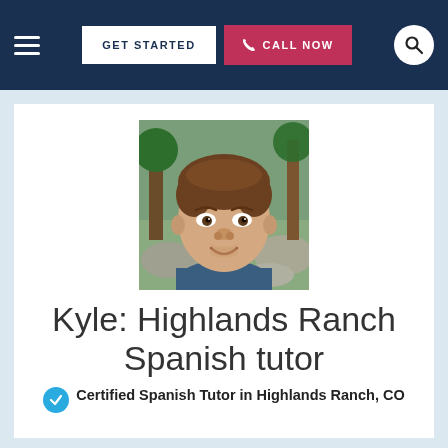GET STARTED  CALL NOW
[Figure (photo): Profile photo of Kyle, a young man with brown hair smiling outdoors in front of trees and rocks, wearing a dark blue shirt.]
Kyle: Highlands Ranch Spanish tutor
Certified Spanish Tutor in Highlands Ranch, CO